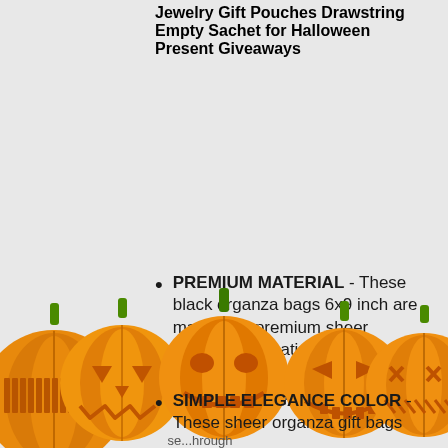Jewelry Gift Pouches Drawstring Empty Sachet for Halloween Present Giveaways
PREMIUM MATERIAL - These black organza bags 6x9 inch are made with premium sheer organza, the satin drawstring makes the organza bags easy to close and open
SIMPLE ELEGANCE COLOR - These sheer organza gift bags are... show through
[Figure (illustration): Row of five carved Halloween jack-o'-lantern pumpkins with orange bodies, green stems, and glowing yellow carved faces at the bottom of the page]